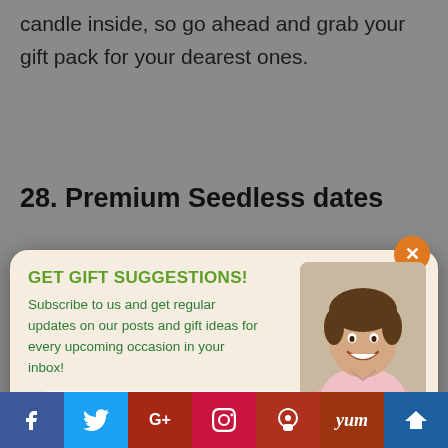candle inside, so go ahead and grab your gift pack for your dearest ones.
28. Premium Seedless dates
[Figure (screenshot): Email subscription popup modal with orange close button, green heading 'GET GIFT SUGGESTIONS!', subscription form with email input and orange SUBSCRIBE NOW button, and photo of smiling man in pink shirt]
POWERED BY SUMO
The...
[Figure (infographic): Social media sharing bar with icons for Facebook, Twitter, Google+, Pinterest, Reddit, Yummly, and an additional icon]